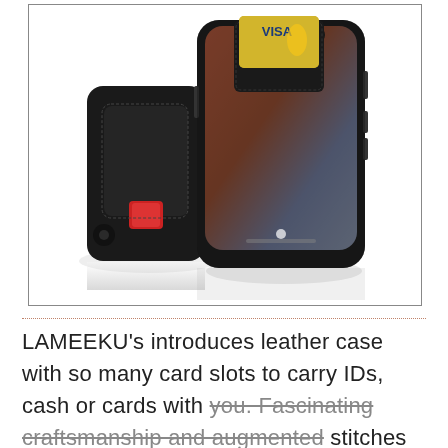[Figure (photo): Product photo of black leather iPhone X wallet case with card slot. Two views shown: back of case showing red pull tab and card pocket, and front showing the case fitted to an iPhone X with a VISA gold credit card inserted in the card slot.]
LAMEEKU's introduces leather case with so many card slots to carry IDs, cash or cards with you. Fascinating craftsmanship and augmented stitches make it stunning and more durable. It